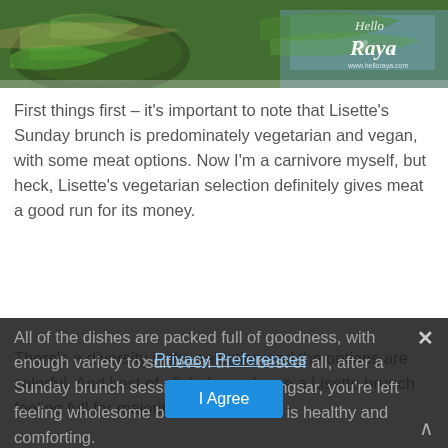[Figure (photo): Food photography showing leafy green vegetables (kale or similar) in bowls, with a watermark/logo 'Hello Raya' and website 'www.helloraya.com' in the top right corner]
First things first – it's important to note that Lisette's Sunday brunch is predominately vegetarian and vegan, with some meat options. Now I'm a carnivore myself, but heck, Lisette's vegetarian selection definitely gives meat a good run for its money.
There's a diversity in the selection and the options are colorful. And best of all, I always leave a Lisette brunch feeling full for majority of the day.
All of the dishes are packed full of goodness, with enough variety to suit even th... best of all, after a Sunday brunch session at... afe in Bangsar, you're left feeling wholesome because the food is healthy and comforting.